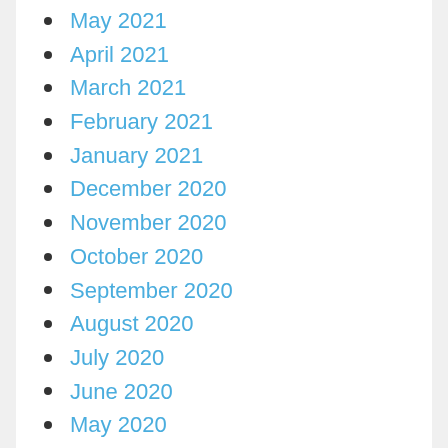May 2021
April 2021
March 2021
February 2021
January 2021
December 2020
November 2020
October 2020
September 2020
August 2020
July 2020
June 2020
May 2020
April 2020
March 2020
February 2020
January 2020
December 2019